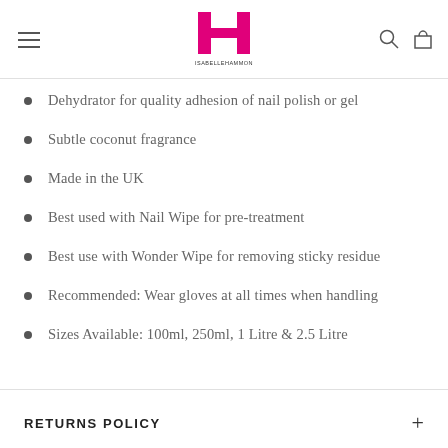IH ISABELLEHAMMON — navigation header with logo
Dehydrator for quality adhesion of nail polish or gel
Subtle coconut fragrance
Made in the UK
Best used with Nail Wipe for pre-treatment
Best use with Wonder Wipe for removing sticky residue
Recommended: Wear gloves at all times when handling
Sizes Available: 100ml, 250ml, 1 Litre & 2.5 Litre
RETURNS POLICY